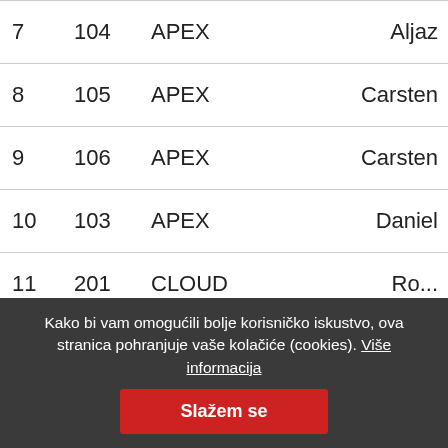| # | No. | Category | Name |
| --- | --- | --- | --- |
| 7 | 104 | APEX | Aljaz |
| 8 | 105 | APEX | Carsten |
| 9 | 106 | APEX | Carsten |
| 10 | 103 | APEX | Daniel |
| 11 | 201 | CLOUD | ACE... | Ro... |
Kako bi vam omogućili bolje korisničko iskustvo, ova stranica pohranjuje vaše kolačiće (cookies). Više informacija
Slažem se